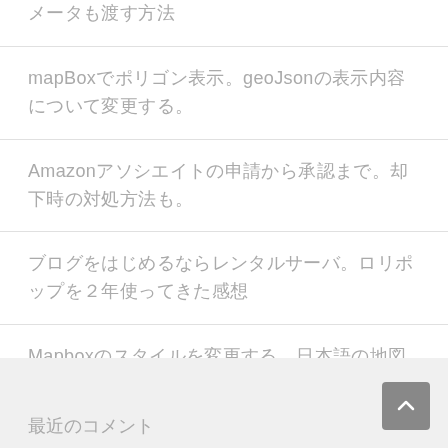メータも渡す方法
mapBoxでポリゴン表示。geoJsonの表示内容について変更する。
Amazonアソシエイトの申請から承認まで。却下時の対処方法も。
ブログをはじめるならレンタルサーバ。ロリポップを２年使ってきた感想
Mapboxのスタイルを変更する。日本語の地図表示に変更。
最近のコメント